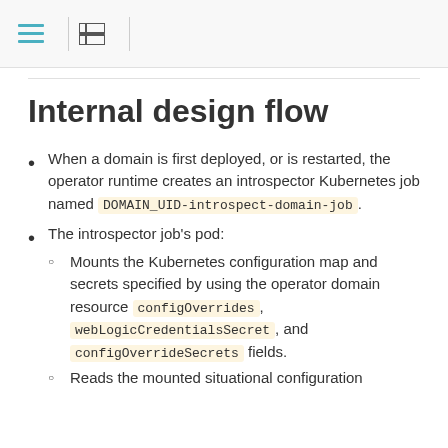≡ | ☰
Internal design flow
When a domain is first deployed, or is restarted, the operator runtime creates an introspector Kubernetes job named DOMAIN_UID-introspect-domain-job.
The introspector job's pod:
Mounts the Kubernetes configuration map and secrets specified by using the operator domain resource configOverrides, webLogicCredentialsSecret, and configOverrideSecrets fields.
Reads the mounted situational configuration